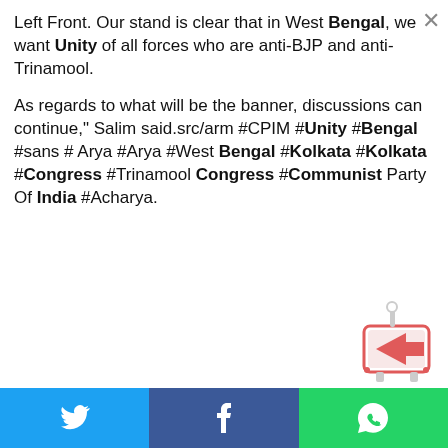Left Front. Our stand is clear that in West Bengal, we want Unity of all forces who are anti-BJP and anti-Trinamool.
As regards to what will be the banner, discussions can continue," Salim said.src/arm #CPIM #Unity #Bengal #sans # Arya #Arya #West Bengal #Kolkata #Kolkata #Congress #Trinamool Congress #Communist Party Of India #Acharya.
[Figure (logo): Animated robot/TV character logo with arrow pointing right]